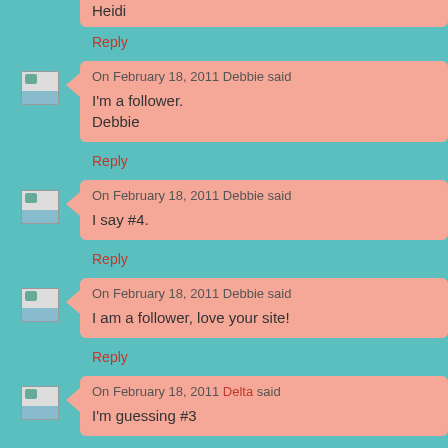Heidi
Reply
On February 18, 2011 Debbie said
I'm a follower.
Debbie
Reply
On February 18, 2011 Debbie said
I say #4.
Reply
On February 18, 2011 Debbie said
I am a follower, love your site!
Reply
On February 18, 2011 Delta said
I'm guessing #3